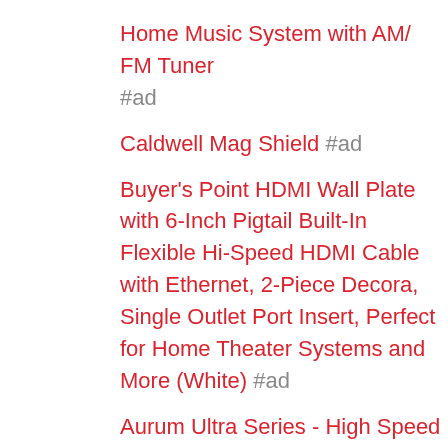Home Music System with AM/ FM Tuner #ad
Caldwell Mag Shield #ad
Buyer's Point HDMI Wall Plate with 6-Inch Pigtail Built-In Flexible Hi-Speed HDMI Cable with Ethernet, 2-Piece Decora, Single Outlet Port Insert, Perfect for Home Theater Systems and More (White) #ad
Aurum Ultra Series - High Speed HDMI Cable (30 Ft) With Ethernet - Supports 3D & Audio Return Channel [Latest Version] - 30 Feet #ad
StarTech.com PXT10120 20-Feet Standard